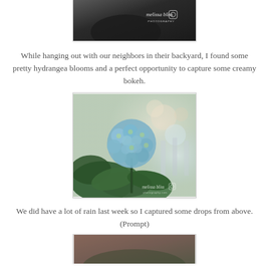[Figure (photo): Black and white close-up photo with Melissa Bliss Photography watermark/logo in the upper right corner]
While hanging out with our neighbors in their backyard, I found some pretty hydrangea blooms and a perfect opportunity to capture some creamy bokeh.
[Figure (photo): Color photograph of blue hydrangea blooms with green leaves and creamy bokeh background, with Melissa Bliss Photography watermark in the lower right corner]
We did have a lot of rain last week so I captured some drops from above. (Prompt)
[Figure (photo): Partially visible color photograph, blurred/bokeh background with dark and warm tones at the bottom of the page]